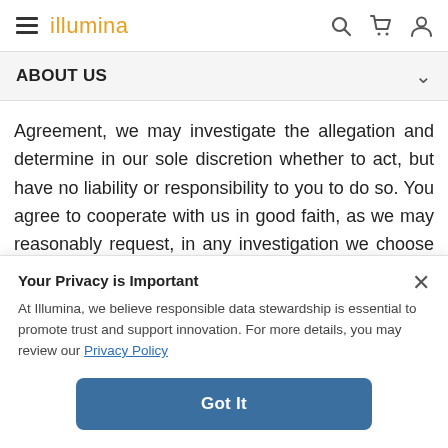illumina (navigation bar with hamburger menu, search, cart, and user icons)
ABOUT US
Agreement, we may investigate the allegation and determine in our sole discretion whether to act, but have no liability or responsibility to you to do so. You agree to cooperate with us in good faith, as we may reasonably request, in any investigation we choose to undertake.
Your Privacy is Important
At Illumina, we believe responsible data stewardship is essential to promote trust and support innovation. For more details, you may review our Privacy Policy
Got It